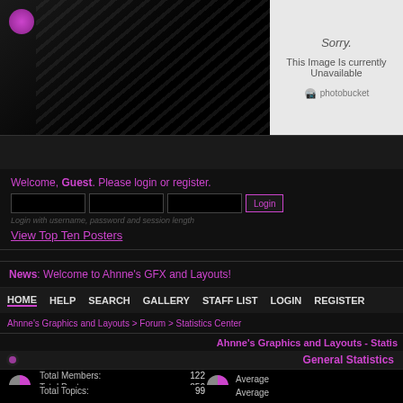[Figure (screenshot): Website banner with dark background, pink/magenta orb, and diagonal stripe pattern on left side. Right side shows a Photobucket 'Image Unavailable' placeholder.]
Sorry.
This Image Is currently Unavailable
photobucket
Welcome, Guest. Please login or register.
Login with username, password and session length
View Top Ten Posters
News: Welcome to Ahnne's GFX and Layouts!
HOME   HELP   SEARCH   GALLERY   STAFF LIST   LOGIN   REGISTER
Ahnne's Graphics and Layouts > Forum > Statistics Center
Ahnne's Graphics and Layouts - Statis
General Statistics
| Label | Value | Label2 |
| --- | --- | --- |
| Total Members: | 122 | Average |
| Total Posts: | 856 | Average |
| Total Topics: | 99 | Average |
| Total Categories: | 6 | Total Bo |
| Users Online: | 1 | Latest M |